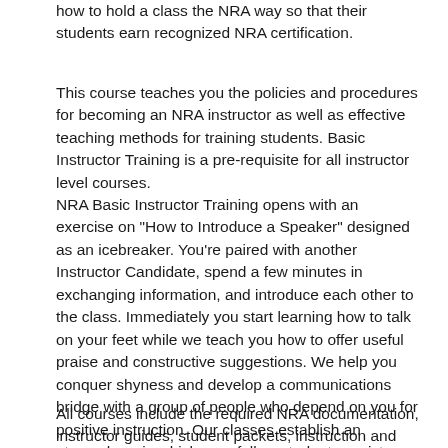how to hold a class the NRA way so that their students earn recognized NRA certification.
This course teaches you the policies and procedures for becoming an NRA instructor as well as effective teaching methods for training students. Basic Instructor Training is a pre-requisite for all instructor level courses.
NRA Basic Instructor Training opens with an exercise on "How to Introduce a Speaker" designed as an icebreaker. You're paired with another Instructor Candidate, spend a few minutes in exchanging information, and introduce each other to the class. Immediately you start learning how to talk on your feet while we teach you how to offer useful praise and constructive suggestions. We help you conquer shyness and develop a communications bridge with a group of people who depend on you for positive instruction. Our classes establish an atmosphere in which your fellow students assist us in helping you succeed.
All courses include the required NRA documentation, instructor guides, student packets, instruction and follow up